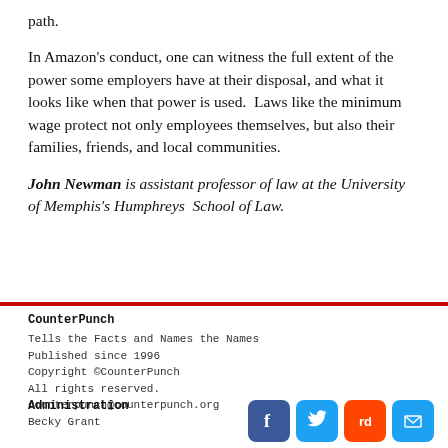path.
In Amazon's conduct, one can witness the full extent of the power some employers have at their disposal, and what it looks like when that power is used.  Laws like the minimum wage protect not only employees themselves, but also their families, friends, and local communities.
John Newman is assistant professor of law at the University of Memphis's Humphreys  School of Law.
CounterPunch
Tells the Facts and Names the Names
Published since 1996
Copyright © CounterPunch
All rights reserved.
counterpunch@counterpunch.org
Administration
Becky Grant